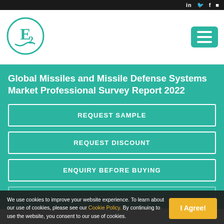Social media icons bar
[Figure (logo): E2 logo inside a circle with teal border]
Global Missiles and Missile Defense Systems Market Professional Survey Report 2022
REQUEST SAMPLE
REQUEST DISCOUNT
ENQUIRY BEFORE BUYING
REQUEST CUSTOMIZATION
We use cookies to improve your website experience. To learn about our use of cookies, please see our Cookie Policy. By continuing to use the website, you consent to our use of cookies.
I Agree!